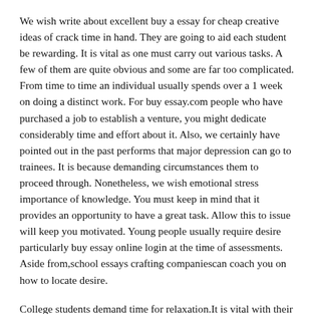We wish write about excellent buy a essay for cheap creative ideas of crack time in hand. They are going to aid each student be rewarding. It is vital as one must carry out various tasks. A few of them are quite obvious and some are far too complicated. From time to time an individual usually spends over a 1 week on doing a distinct work. For buy essay.com people who have purchased a job to establish a venture, you might dedicate considerably time and effort about it. Also, we certainly have pointed out in the past performs that major depression can go to trainees. It is because demanding circumstances them to proceed through. Nonetheless, we wish emotional stress importance of knowledge. You must keep in mind that it provides an opportunity to have a great task. Allow this to issue will keep you motivated. Young people usually require desire particularly buy essay online login at the time of assessments. Aside from,school essays crafting companiescan coach you on how to locate desire.
College students demand time for relaxation.It is vital with their overall health. Few people considers what will happen inside of people overall body as he/she lacks more than enough relaxation. Each student sheds production however it is along with a other undesirable steps. Styles storage results in being more serious,